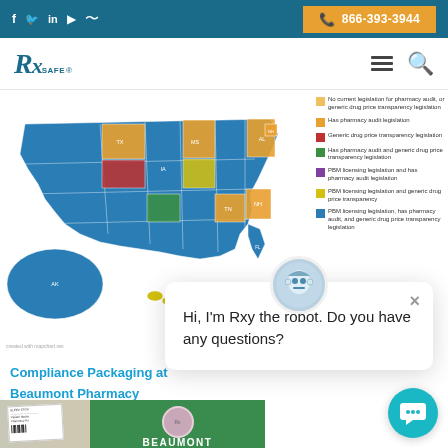f  in  YouTube  RSS  |  866-393-3944
[Figure (logo): RxSafe logo]
[Figure (map): US state map showing pharmacy and drug price transparency legislation by state, color-coded by legislation type. Legend shows categories: pharmacy audit legislation (orange), generic drug price transparency legislation (red), pharmacy audit and generic drug price transparency legislation (green), PBM licensing legislation and pharmacy audit legislation (purple), PBM licensing legislation and generic drug price transparency (yellow), PBM licensing legislation, pharmacy audit, and generic drug price transparency legislation (blue).]
Compliance Packaging at Beaumont Pharmacy
[Figure (photo): Photo showing green Beaumont pharmacy compliance packaging box with prescription label]
[Figure (other): Chatbot popup with avatar robot named Rxy. Text: Hi, I'm Rxy the robot. Do you have any questions?]